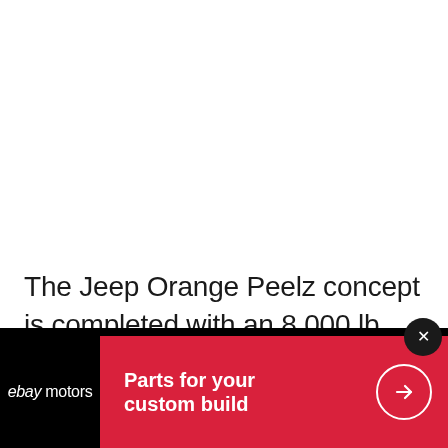The Jeep Orange Peelz concept is completed with an 8,000 lb Warn winch mounted to a custom JPP front bumper, JPP 5-inch ditch lights, custom rock r...
[Figure (screenshot): eBay Motors advertisement banner with red background, showing 'ebay motors' logo on black left panel and 'Parts for your custom build' tagline with arrow button on red panel. Close button (x) in dark circle at top right.]